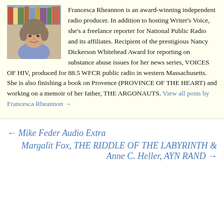[Figure (photo): Portrait photo of Francesca Rheannon, a middle-aged woman with curly grey-brown hair, smiling, with bookshelves in the background.]
Francesca Rheannon is an award-winning independent radio producer. In addition to hosting Writer's Voice, she's a freelance reporter for National Public Radio and its affiliates. Recipient of the prestigious Nancy Dickerson Whitehead Award for reporting on substance abuse issues for her news series, VOICES OF HIV, produced for 88.5 WFCR public radio in western Massachusetts. She is also finishing a book on Provence (PROVINCE OF THE HEART) and working on a memoir of her father, THE ARGONAUTS. View all posts by Francesca Rheannon →
← Mike Feder Audio Extra
Margalit Fox, THE RIDDLE OF THE LABYRINTH & Anne C. Heller, AYN RAND →